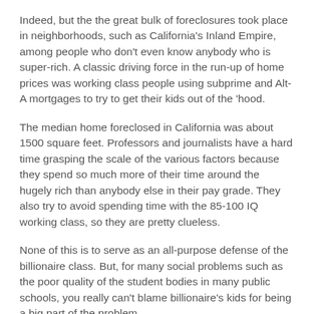Indeed, but the the great bulk of foreclosures took place in neighborhoods, such as California's Inland Empire, among people who don't even know anybody who is super-rich. A classic driving force in the run-up of home prices was working class people using subprime and Alt-A mortgages to try to get their kids out of the 'hood.
The median home foreclosed in California was about 1500 square feet. Professors and journalists have a hard time grasping the scale of the various factors because they spend so much more of their time around the hugely rich than anybody else in their pay grade. They also try to avoid spending time with the 85-100 IQ working class, so they are pretty clueless.
None of this is to serve as an all-purpose defense of the billionaire class. But, for many social problems such as the poor quality of the student bodies in many public schools, you really can't blame billionaire's kids for being a big part of the problem.